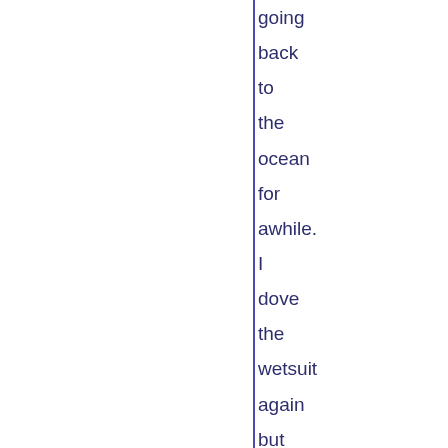going back to the ocean for awhile. I dove the wetsuit again but this time I really presoaked everything in warm water. Gloves, boot, hoods and lots poured inside the suit